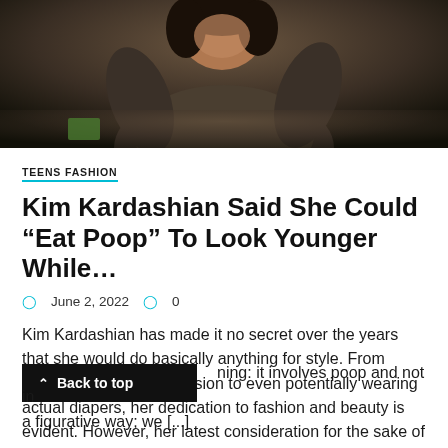[Figure (photo): Photo of a person with dark hair against a dark background, shown from approximately shoulder level up, wearing a textured dark outfit.]
TEENS FASHION
Kim Kardashian Said She Could “Eat Poop” To Look Younger While…
June 2, 2022   0
Kim Kardashian has made it no secret over the years that she would do basically anything for style. From willingly obscuring her vision to even potentially wearing actual diapers, her dedication to fashion and beauty is evident. However, her latest consideration for the sake of looks is a little more concerning: it involves poop and not in a figurative way; we [...]